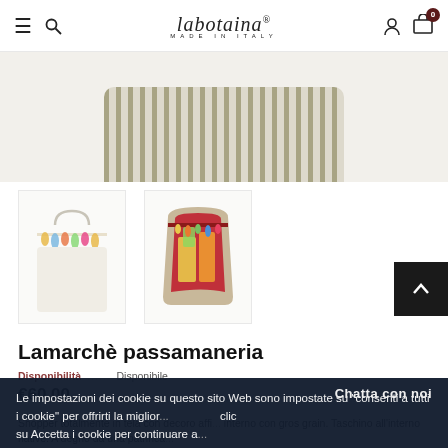labotaina® MADE IN ITALY — navigation header with hamburger, search, user, cart (0)
[Figure (photo): Striped fabric bag top view, cream and taupe stripes, shown cropped at top]
[Figure (photo): Thumbnail 1: White shopper bag with colorful tassel/fringe trim at top]
[Figure (photo): Thumbnail 2: Open colorful bag showing interior with red, yellow, multicolor fabric]
Lamarchè passamaneria
Disponibilità ... Disponibile
€60,00
Le impostazioni dei cookie su questo sito Web sono impostate su "consenti a tutti i cookie" per offrirti la miglior... clic su Accetta i cookie per continuare a...
Chatta con noi
PRIVACY POLICY
ACCETTA ✓
Shopper totalmente in tela con decoro affissa fallo interno con gros grain. Taschino all'interno native. A degno da una patrinca...